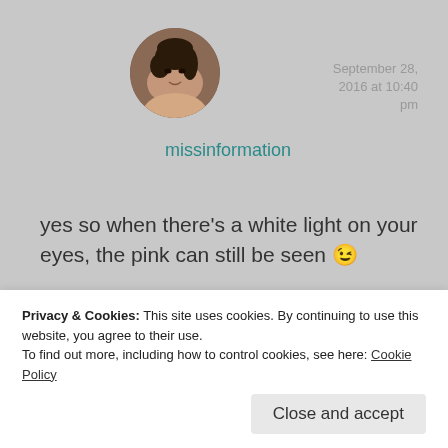[Figure (photo): Circular avatar/profile photo of a young woman with dark hair and bangs]
September 28, 2016 at 10:40 pm
missinformation
yes so when there's a white light on your eyes, the pink can still be seen 😉
★ Liked by 1 person
Log in to Reply
Privacy & Cookies: This site uses cookies. By continuing to use this website, you agree to their use.
To find out more, including how to control cookies, see here: Cookie Policy
Close and accept